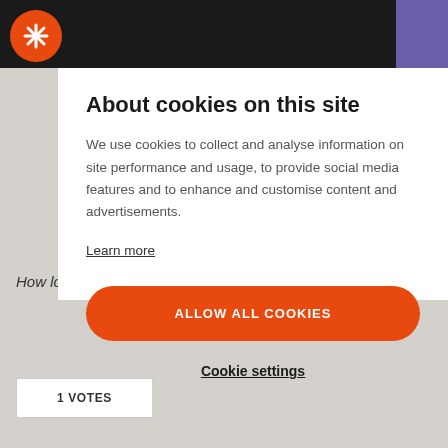[Figure (logo): Orange circle logo with white asterisk/snowflake icon on dark navigation bar]
About cookies on this site
We use cookies to collect and analyse information on site performance and usage, to provide social media features and to enhance and customise content and advertisements.
Learn more
ALLOW ALL COOKIES
Cookie settings
How long did it hang also before it timed out?
1 VOTES